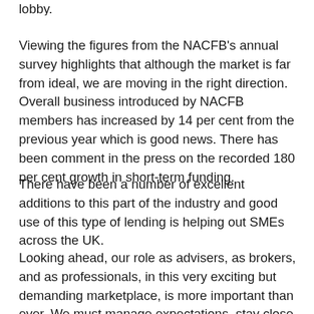lobby.
Viewing the figures from the NACFB's annual survey highlights that although the market is far from ideal, we are moving in the right direction. Overall business introduced by NACFB members has increased by 14 per cent from the previous year which is good news. There has been comment in the press on the recorded 180 per cent growth in short-term funding.
There have been a number of excellent additions to this part of the industry and good use of this type of lending is helping out SMEs across the UK.
Looking ahead, our role as advisers, as brokers, and as professionals, in this very exciting but demanding marketplace, is more important than ever. We must manage expectations, stay close to those clients that have sensible